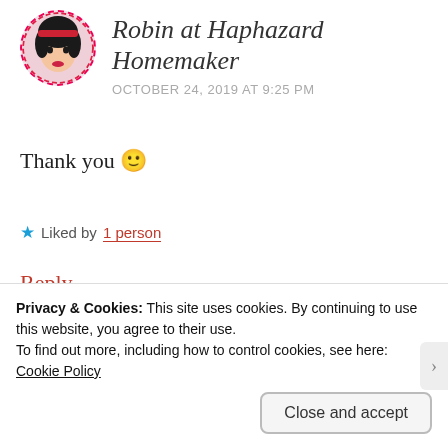[Figure (illustration): Circular avatar with dashed red border showing an illustrated woman with dark hair and red headband]
Robin at Haphazard Homemaker
OCTOBER 24, 2019 AT 9:25 PM
Thank you 🙂
★ Liked by 1 person
Reply
[Figure (photo): Circular avatar showing a yellow flower (sunflower)]
sheketechad
Privacy & Cookies: This site uses cookies. By continuing to use this website, you agree to their use.
To find out more, including how to control cookies, see here:
Cookie Policy
Close and accept